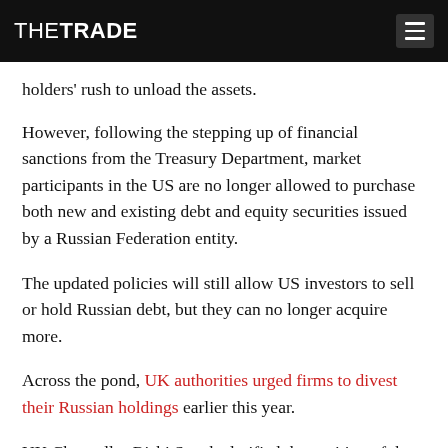THE TRADE
holders' rush to unload the assets.
However, following the stepping up of financial sanctions from the Treasury Department, market participants in the US are no longer allowed to purchase both new and existing debt and equity securities issued by a Russian Federation entity.
The updated policies will still allow US investors to sell or hold Russian debt, but they can no longer acquire more.
Across the pond, UK authorities urged firms to divest their Russian holdings earlier this year.
UK Chancellor Rishi Sunak clarified the position of the UK government on Russian investments, confirming that "there